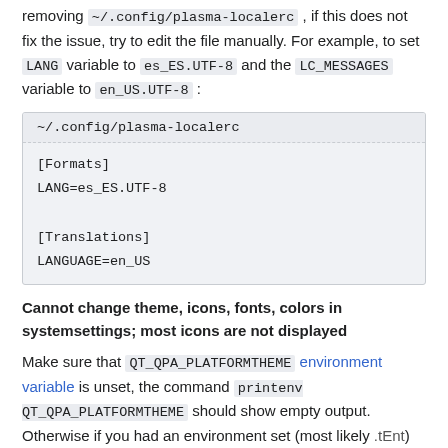removing ~/.config/plasma-localerc , if this does not fix the issue, try to edit the file manually. For example, to set LANG variable to es_ES.UTF-8 and the LC_MESSAGES variable to en_US.UTF-8 :
[Figure (screenshot): Code block showing ~/.config/plasma-localerc file with [Formats] LANG=es_ES.UTF-8 and [Translations] LANGUAGE=en_US]
Cannot change theme, icons, fonts, colors in systemsettings; most icons are not displayed
Make sure that QT_QPA_PLATFORMTHEME environment variable is unset, the command printenv QT_QPA_PLATFORMTHEME should show empty output. Otherwise if you had an environment set (most likely .tEnt) the variable will format settings name. Qt applications